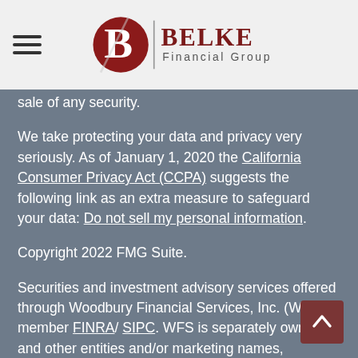Belke Financial Group
sale of any security.
We take protecting your data and privacy very seriously. As of January 1, 2020 the California Consumer Privacy Act (CCPA) suggests the following link as an extra measure to safeguard your data: Do not sell my personal information.
Copyright 2022 FMG Suite.
Securities and investment advisory services offered through Woodbury Financial Services, Inc. (WFS), member FINRA/ SIPC. WFS is separately owned and other entities and/or marketing names, products or services referenced here are independent of WFS. WFS does not provide tax or